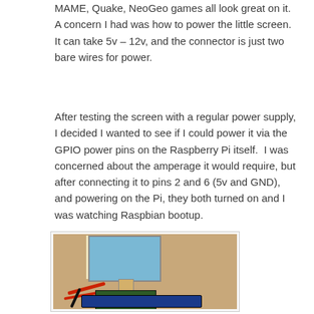MAME, Quake, NeoGeo games all look great on it.  A concern I had was how to power the little screen.  It can take 5v – 12v, and the connector is just two bare wires for power.
After testing the screen with a regular power supply, I decided I wanted to see if I could power it via the GPIO power pins on the Raspberry Pi itself.  I was concerned about the amperage it would require, but after connecting it to pins 2 and 6 (5v and GND), and powering on the Pi, they both turned on and I was watching Raspbian bootup.
[Figure (photo): A photograph showing a small LCD screen connected via ribbon cable to a controller board, with red and black wires, and a Raspberry Pi board at the bottom. The screen displays a blue Raspbian bootup screen.]